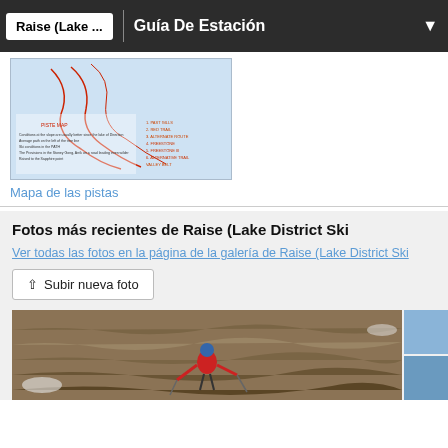Raise (Lake ... | Guía De Estación
[Figure (photo): Trail/piste map of Raise Lake District Ski area showing ski runs in red on a snowy blue background with text legend]
Mapa de las pistas
Fotos más recientes de Raise (Lake District Ski
Ver todas las fotos en la página de la galería de Raise (Lake District Ski
↑ Subir nueva foto
[Figure (photo): Person in red jacket and blue helmet skiing or walking on a rocky/muddy mountain slope, holding ski poles]